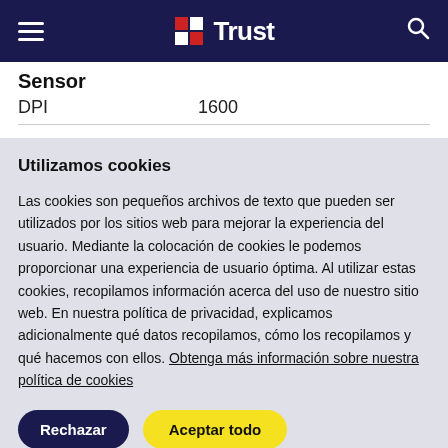Trust
Sensor
|  |  |
| --- | --- |
| DPI | 1600 |
Utilizamos cookies
Las cookies son pequeños archivos de texto que pueden ser utilizados por los sitios web para mejorar la experiencia del usuario. Mediante la colocación de cookies le podemos proporcionar una experiencia de usuario óptima. Al utilizar estas cookies, recopilamos información acerca del uso de nuestro sitio web. En nuestra política de privacidad, explicamos adicionalmente qué datos recopilamos, cómo los recopilamos y qué hacemos con ellos. Obtenga más información sobre nuestra política de cookies
Rechazar
Aceptar todo
Configuración de cookies'